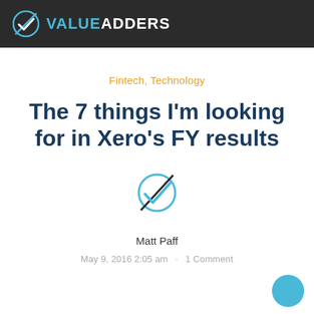VALUE ADDERS
Fintech, Technology
The 7 things I'm looking for in Xero's FY results
[Figure (logo): ValueAdders circular checkmark logo icon]
Matt Paff
May 9, 2016 2:05 am · 1 Comment